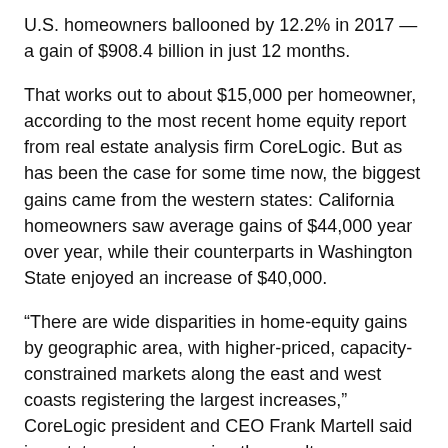U.S. homeowners ballooned by 12.2% in 2017 — a gain of $908.4 billion in just 12 months.
That works out to about $15,000 per homeowner, according to the most recent home equity report from real estate analysis firm CoreLogic. But as has been the case for some time now, the biggest gains came from the western states: California homeowners saw average gains of $44,000 year over year, while their counterparts in Washington State enjoyed an increase of $40,000.
“There are wide disparities in home-equity gains by geographic area, with higher-priced, capacity-constrained markets along the east and west coasts registering the largest increases,” CoreLogic president and CEO Frank Martell said in a statement announcing the results.
Still, appreciation along the Eastern seaboard lagged far behind the West: Massachusetts homeowners saw average gains of $22,000 in 2017.